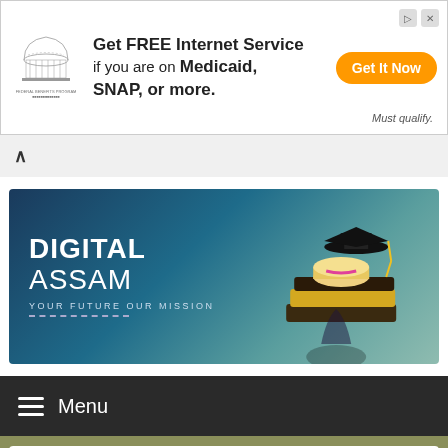[Figure (infographic): Advertisement banner for Free Internet Service via Federal Benefits Program for Medicaid/SNAP recipients with Get It Now orange button]
[Figure (infographic): Digital Assam educational website banner with graduation cap and books illustration. Text: DIGITAL ASSAM, YOUR FUTURE OUR MISSION]
Menu
SSC GD Admit Card 2018-2019, SSC GD Exam Date Exam Date 2018-